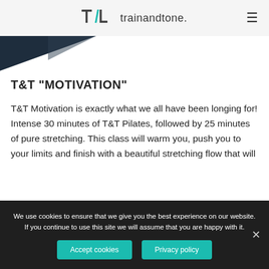trainandtone.
[Figure (illustration): Dark navy triangle/geometric banner image in upper left area below header]
T&T "MOTIVATION"
T&T Motivation is exactly what we all have been longing for! Intense 30 minutes of T&T Pilates, followed by 25 minutes of pure stretching. This class will warm you, push you to your limits and finish with a beautiful stretching flow that will
We use cookies to ensure that we give you the best experience on our website. If you continue to use this site we will assume that you are happy with it.
Accept cookies
Privacy policy